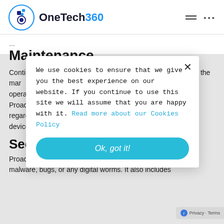[Figure (logo): OneTech360 logo with circular icon and text]
Maintenance
Continuous maintenance capacitate the system to have up to the mar operations th Proactive Sup regarding the device real ba
[Figure (screenshot): Cookie consent popup: 'We use cookies to ensure that we give you the best experience on our website. If you continue to use this site we will assume that you are happy with it. Read more about our Cookies Policy' with 'Ok, got it!' button and X close button]
Security M
Proactive secu malware, bugs, or any digital worms. It also includes